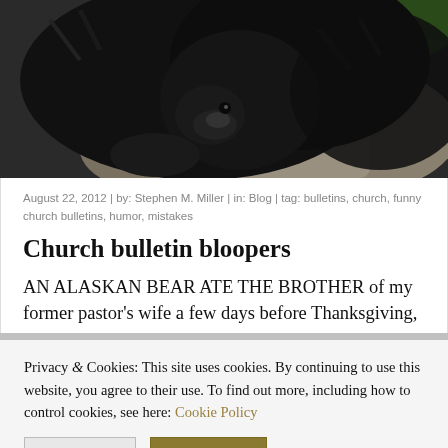[Figure (photo): Close-up photo of a large black bear resting on rocks, showing its face, claws, and dark fur against a rocky background with some green foliage visible.]
August 22, 2012 | by: Stephen M. Miller | in: Blog | tag: bulletins, church, funny church bulletins, humor, mistakes
Church bulletin bloopers
AN ALASKAN BEAR ATE THE BROTHER of my former pastor's wife a few days before Thanksgiving,
Privacy & Cookies: This site uses cookies. By continuing to use this website, you agree to their use. To find out more, including how to control cookies, see here: Cookie Policy
Reject All   Accept All